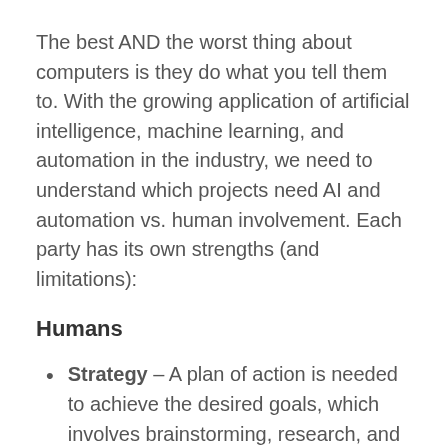The best AND the worst thing about computers is they do what you tell them to. With the growing application of artificial intelligence, machine learning, and automation in the industry, we need to understand which projects need AI and automation vs. human involvement. Each party has its own strengths (and limitations):
Humans
Strategy – A plan of action is needed to achieve the desired goals, which involves brainstorming, research, and well thought out recommendations. This requires human involvement.
Creativity and Storytelling – Humans are